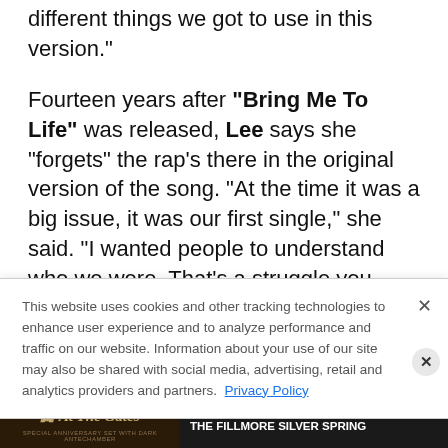there's different vocal choices I've made and different things we got to use in this version."
Fourteen years after "Bring Me To Life" was released, Lee says she "forgets" the rap's there in the original version of the song. "At the time it was a big issue, it was our first single," she said. "I wanted people to understand who we were. That's a struggle you always fight as an artist. If
This website uses cookies and other tracking technologies to enhance user experience and to analyze performance and traffic on our website. Information about your use of our site may also be shared with social media, advertising, retail and analytics providers and partners. Privacy Policy
[Figure (infographic): Advertisement banner for 'At The Gates' concert, August 29 at The Fillmore Silver Spring]